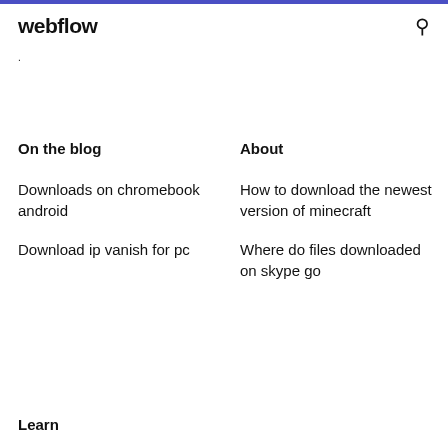webflow
On the blog
About
Downloads on chromebook android
Download ip vanish for pc
How to download the newest version of minecraft
Where do files downloaded on skype go
Learn